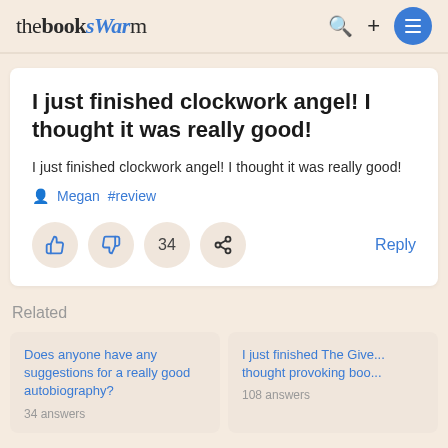thebookswarm
I just finished clockwork angel! I thought it was really good!
I just finished clockwork angel! I thought it was really good!
Megan #review
34 | Reply
Related
Does anyone have any suggestions for a really good autobiography?
I just finished The Give... thought provoking boo...